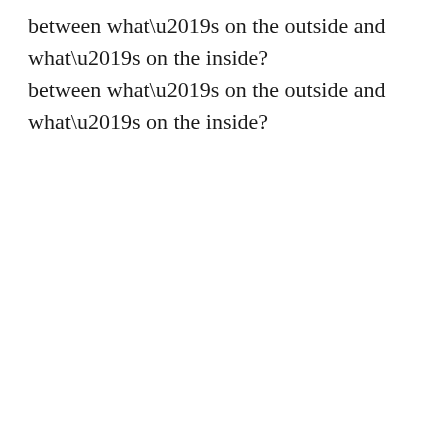between what’s on the outside and what’s on the inside?
In Dialectical Beahavioral Therapy (DBT), this is called Apparent Competence. It’s when outwardly you seem highly capable and emotionally regulated. You seem just fine, or even more than fine, and not really in need of help. Yet, internally you may be on fire. Another blogger defined it as “incongruous communications.” They continued, “The person may state a problem or talk about a subject that evokes high levels of emotion, but without the ‘matching’ level of non-verbal communication.”